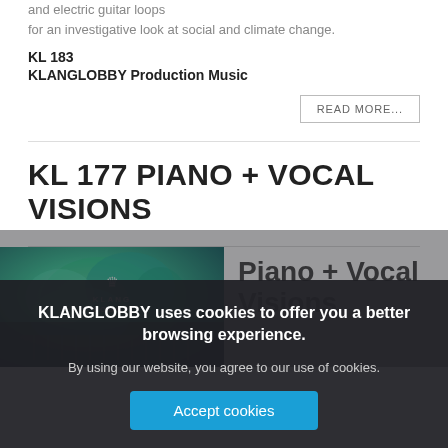and electric guitar loops for an investigative look at social and climate change.
KL 183
KLANGLOBBY Production Music
READ MORE...
KL 177 PIANO + VOCAL VISIONS
[Figure (illustration): Album cover image with teal/green ink in water, Klang Lobby logo overlay; next to it text reading 'Piano + Vocal Visions']
KLANGLOBBY uses cookies to offer you a better browsing experience. By using our website, you agree to our use of cookies.
Accept cookies